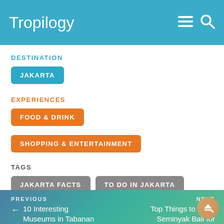Tropilogy
DESTINATION
JAKARTA
EXPERIENCES
FOOD & DRINK
SHOPPING & ENTERTAINMENT
TAGS
JAKARTA FACTS
TO DO IN JAKARTA
PREVIOUS ← 10 Interesting Museums in Tabanan | NEXT Top Things to Do in Seminyak Bali for